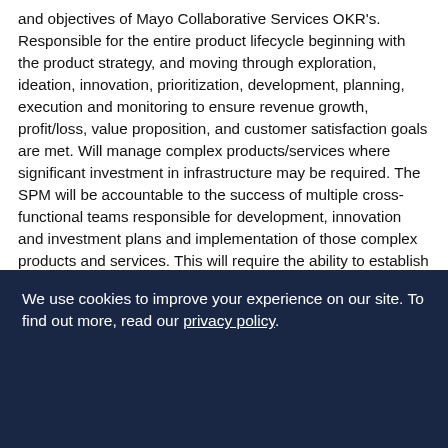and objectives of Mayo Collaborative Services OKR's. Responsible for the entire product lifecycle beginning with the product strategy, and moving through exploration, ideation, innovation, prioritization, development, planning, execution and monitoring to ensure revenue growth, profit/loss, value proposition, and customer satisfaction goals are met. Will manage complex products/services where significant investment in infrastructure may be required. The SPM will be accountable to the success of multiple cross-functional teams responsible for development, innovation and investment plans and implementation of those complex products and services. This will require the ability to establish deep partnerships with multi-disciplinary experts and stakeholders in the areas of Product design, Engineering, Marketing, IT, Supply Chain, Finance, Business Development, Physician leaders, and Scientists to ensure the product/service line achieves business requirements and aligns to other
We use cookies to improve your experience on our site. To find out more, read our privacy policy.
Accept